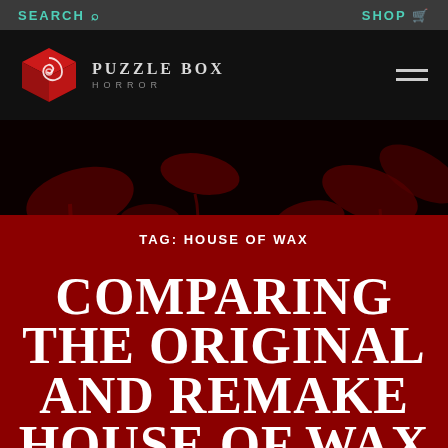SEARCH  SHOP
[Figure (logo): Puzzle Box Horror logo: red cubic puzzle box icon with white swirl design, next to text 'PUZZLE BOX HORROR']
TAG: HOUSE OF WAX
COMPARING THE ORIGINAL AND REMAKE HOUSE OF WAX